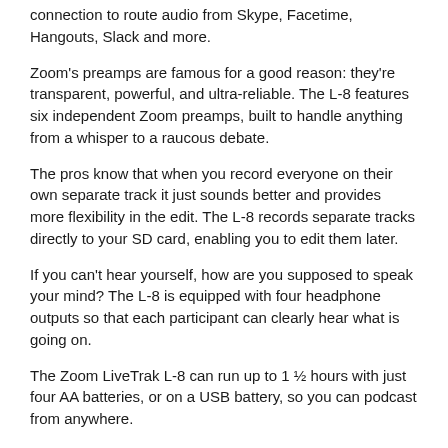connection to route audio from Skype, Facetime, Hangouts, Slack and more.
Zoom's preamps are famous for a good reason: they're transparent, powerful, and ultra-reliable. The L-8 features six independent Zoom preamps, built to handle anything from a whisper to a raucous debate.
The pros know that when you record everyone on their own separate track it just sounds better and provides more flexibility in the edit. The L-8 records separate tracks directly to your SD card, enabling you to edit them later.
If you can't hear yourself, how are you supposed to speak your mind? The L-8 is equipped with four headphone outputs so that each participant can clearly hear what is going on.
The Zoom LiveTrak L-8 can run up to 1 ½ hours with just four AA batteries, or on a USB battery, so you can podcast from anywhere.
Used as an audio interface, the L-8 can record full episodes directly to your computer and an SD card simultaneously. You can also live stream while recording.
L-8 is class compliant, enabling connection with iOS devices. Apple Lightning to USB Camera Adapter required.